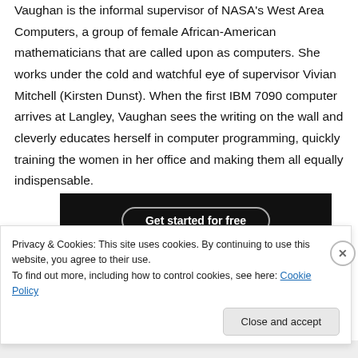Vaughan is the informal supervisor of NASA's West Area Computers, a group of female African-American mathematicians that are called upon as computers. She works under the cold and watchful eye of supervisor Vivian Mitchell (Kirsten Dunst). When the first IBM 7090 computer arrives at Langley, Vaughan sees the writing on the wall and cleverly educates herself in computer programming, quickly training the women in her office and making them all equally indispensable.
[Figure (screenshot): Dark banner with 'Get started for free' button]
Privacy & Cookies: This site uses cookies. By continuing to use this website, you agree to their use.
To find out more, including how to control cookies, see here: Cookie Policy
Close and accept